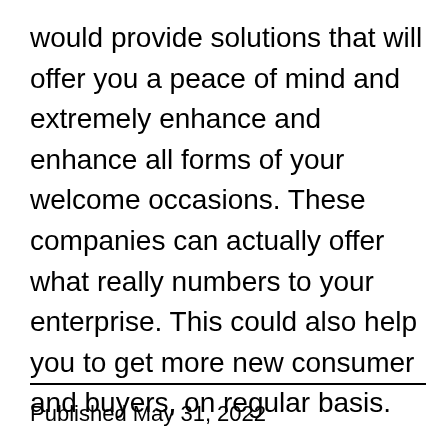would provide solutions that will offer you a peace of mind and extremely enhance and enhance all forms of your welcome occasions. These companies can actually offer what really numbers to your enterprise. This could also help you to get more new consumer and buyers, on regular basis.
Inspired by: ezinearticles
Published May 31, 2022